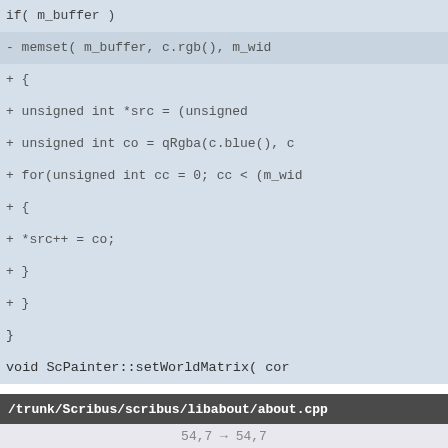[Figure (screenshot): Code diff view showing two sections: top section is a diff of ScPainter code with lines showing memset, unsigned int declarations, for-loop, and ScPainter::setWorldMatrix. Bottom section shows /trunk/Scribus/scribus/libabout/about.cpp diff at line 54,7->54,7 with tabLayout1->addWidget, BuildID = new QLabel, BuildID->setAlignment, and QString bu = tr lines.]
if( m_buffer )
- memset( m_buffer, c.rgb(), m_wid
+ {
+ unsigned int *src = (unsigned
+ unsigned int co = qRgba(c.blue(), c
+ for(unsigned int cc = 0; cc < (m_wid
+ {
+ *src++ = co;
+ }
+ }
}
void ScPainter::setWorldMatrix( cor
/trunk/Scribus/scribus/libabout/about.cpp
54,7 → 54,7
tabLayout1->addWidget(
    PixmapLabel1 );
BuildID = new QLabel( tab, "BB"
    );
BuildID-
    >setAlignment(Qt::AlignCenter);
QString bu = tr("%1. %2 %3